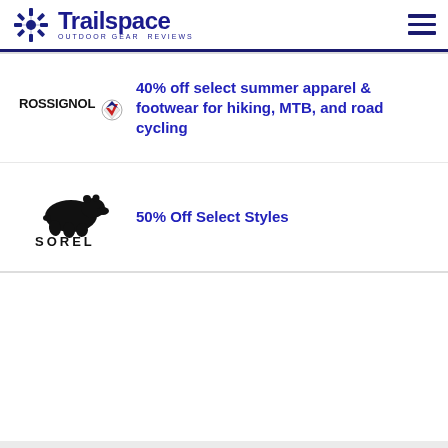Trailspace OUTDOOR GEAR REVIEWS
40% off select summer apparel & footwear for hiking, MTB, and road cycling
50% Off Select Styles
Get gearwise. Stay gearwise.
Weekly reviews, exclusive deals, giveaways, and more: